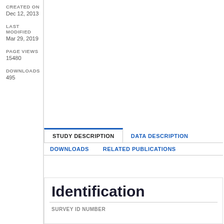CREATED ON
Dec 12, 2013
LAST MODIFIED
Mar 29, 2019
PAGE VIEWS
15480
DOWNLOADS
495
STUDY DESCRIPTION
DATA DESCRIPTION
DOWNLOADS
RELATED PUBLICATIONS
Identification
SURVEY ID NUMBER